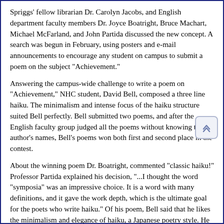Spriggs' fellow librarian Dr. Carolyn Jacobs, and English department faculty members Dr. Joyce Boatright, Bruce Machart, Michael McFarland, and John Partida discussed the new concept. A search was begun in February, using posters and e-mail announcements to encourage any student on campus to submit a poem on the subject "Achievement."
Answering the campus-wide challenge to write a poem on "Achievement," NHC student, David Bell, composed a three line haiku. The minimalism and intense focus of the haiku structure suited Bell perfectly. Bell submitted two poems, and after the English faculty group judged all the poems without knowing the author's names, Bell's poems won both first and second place in the contest.
About the winning poem Dr. Boatright, commented "classic haiku!" Professor Partida explained his decision, "...I thought the word "symposia" was an impressive choice. It is a word with many definitions, and it gave the work depth, which is the ultimate goal for the poets who write haiku." Of his poem, Bell said that he likes the minimalism and elegance of haiku, a Japanese poetry style. He has taught Kung Fu for the past nine years, and finds both the poetry and the martial art form to have similarities. "The winning poem took little effort, it just came out," said Bell. He then spent additional time researching the words of the poem to assure they were